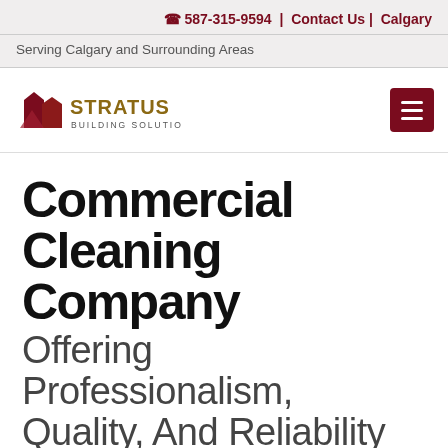587-315-9594 | Contact Us | Calgary
Serving Calgary and Surrounding Areas
[Figure (logo): Stratus Building Solutions logo with stylized building silhouette in dark red and gold text]
Commercial Cleaning Company
Offering Professionalism, Quality, And Reliability